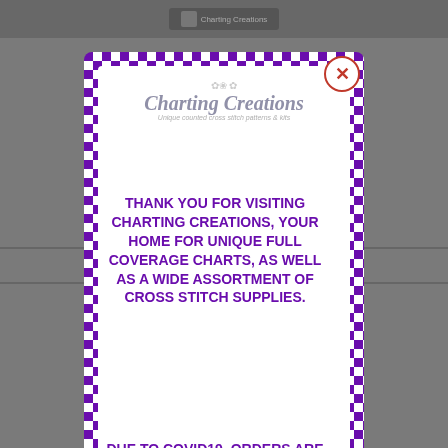[Figure (screenshot): Background website page showing a product page for 'Gentleman Quaker' priced at $10.00 USD, with a dark gray overlay, a top navigation bar, and a MAKER branding bar]
[Figure (other): Modal popup dialog with purple and white checkerboard border, containing the Charting Creations logo and a message about visiting Charting Creations and COVID-19 shipping delays]
THANK YOU FOR VISITING CHARTING CREATIONS, YOUR HOME FOR UNIQUE FULL COVERAGE CHARTS, AS WELL AS A WIDE ASSORTMENT OF CROSS STITCH SUPPLIES.

DUE TO COVID19, ORDERS ARE TAKING LONGER THAN OUR USUAL 2 BUSINESS DAYS TO SHIP. ORDER VOLUME IS UP, AND VENDOR ORDERS
Gentleman Quaker
$10.00 USD